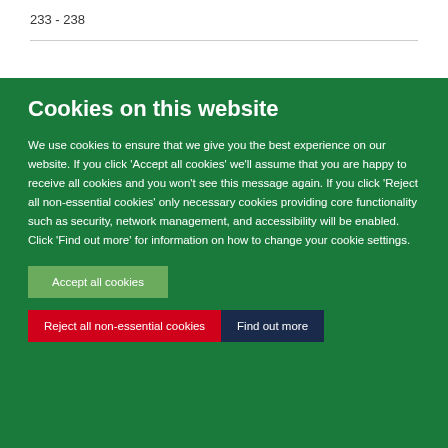233 - 238
Cookies on this website
We use cookies to ensure that we give you the best experience on our website. If you click 'Accept all cookies' we'll assume that you are happy to receive all cookies and you won't see this message again. If you click 'Reject all non-essential cookies' only necessary cookies providing core functionality such as security, network management, and accessibility will be enabled. Click 'Find out more' for information on how to change your cookie settings.
Accept all cookies
Reject all non-essential cookies
Find out more